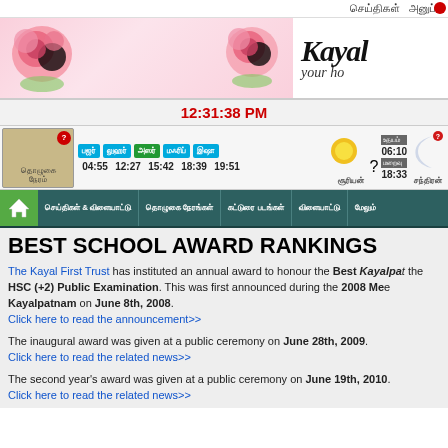செய்திகள் அனுப்ப
[Figure (illustration): Pink roses banner with website logo 'Kayal - your ho...' on right]
12:31:38 PM
[Figure (infographic): Prayer times bar with employment icon, Tamil prayer names, times 04:55 12:27 15:42 18:39 19:51, sun rise 06:10, sun set 18:33, sun and moon icons]
[Figure (screenshot): Navigation menu with home icon and Tamil menu items]
BEST SCHOOL AWARD RANKINGS
The Kayal First Trust has instituted an annual award to honour the Best Kayalpatnam student(s) who have excelled in the HSC (+2) Public Examination. This was first announced during the 2008 Meet of Kayalpatnam on June 8th, 2008.
Click here to read the announcement>>
The inaugural award was given at a public ceremony on June 28th, 2009.
Click here to read the related news>>
The second year's award was given at a public ceremony on June 19th, 2010.
Click here to read the related news>>